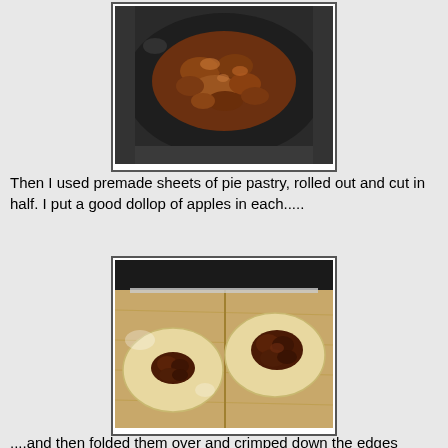[Figure (photo): A dark frying pan containing caramelized/cooked apple filling, brown and chunky in texture]
Then I used premade sheets of pie pastry, rolled out and cut in half. I put a good dollop of apples in each.....
[Figure (photo): Two half-circles of pie pastry on a wooden cutting board, each topped with a mound of dark apple filling]
....and then folded them over and crimped down the edges